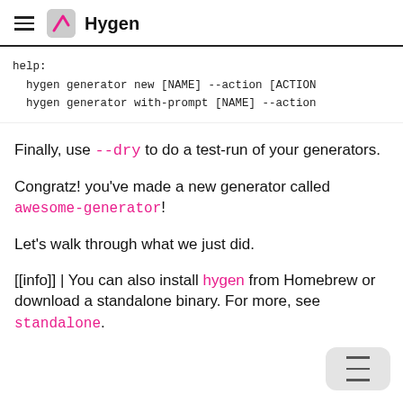Hygen
help:
  hygen generator new [NAME] --action [ACTION
  hygen generator with-prompt [NAME] --action
Finally, use --dry to do a test-run of your generators.
Congratz! you've made a new generator called awesome-generator!
Let's walk through what we just did.
[[info]] | You can also install hygen from Homebrew or download a standalone binary. For more, see standalone.